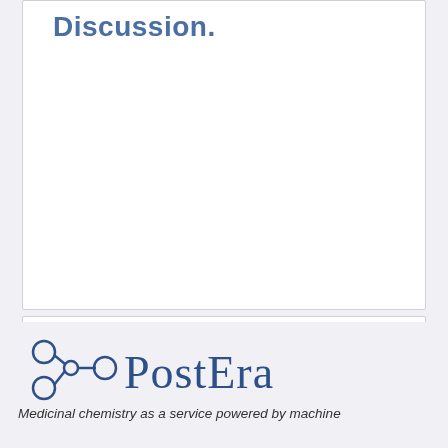Discussion.
Contributor: Alpha Lee, PostEra - Sun, 07 Mar 2021 18:22:54 +0000
[Figure (logo): PostEra logo with molecule icon and text 'PostEra', with tagline 'Medicinal chemistry as a service powered by machine']